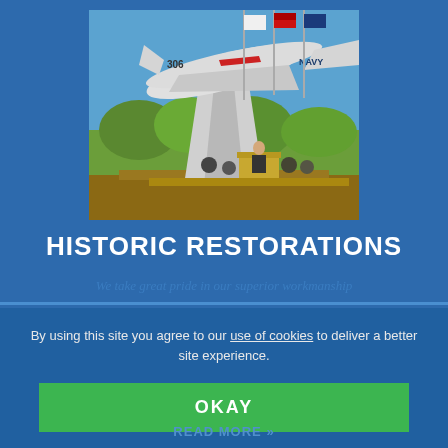[Figure (photo): Outdoor ceremony with a military jet aircraft (numbered 306, Navy) mounted on a display stand, with flags (including Marine Corps and Virginia state flag) and people at a podium, trees in background, blue sky.]
HISTORIC RESTORATIONS
We take great pride in our superior workmanship
By using this site you agree to our use of cookies to deliver a better site experience.
OKAY
READ MORE »